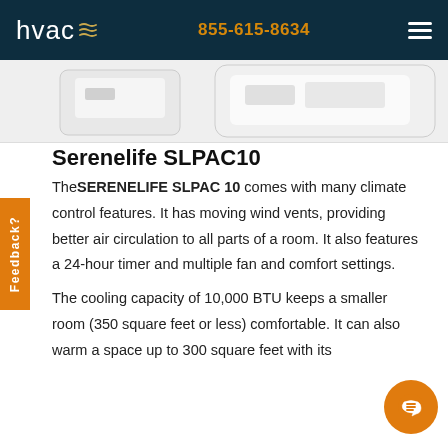hvac  855-615-8634
[Figure (photo): Partial view of the Serenelife SLPAC10 portable air conditioner unit against a white background]
Serenelife SLPAC10
The SERENELIFE SLPAC 10 comes with many climate control features. It has moving wind vents, providing better air circulation to all parts of a room. It also features a 24-hour timer and multiple fan and comfort settings.
The cooling capacity of 10,000 BTU keeps a smaller room (350 square feet or less) comfortable. It can also warm a space up to 300 square feet with its